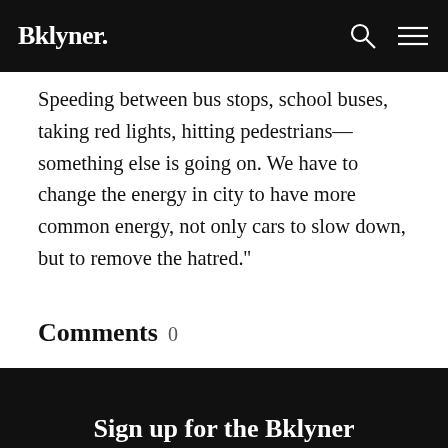Bklyner.
Speeding between bus stops, school buses, taking red lights, hitting pedestrians—something else is going on. We have to change the energy in city to have more common energy, not only cars to slow down, but to remove the hatred."
Comments 0
Sign in or become a Bklyner member to join the conversation.
Sign up for the Bklyner